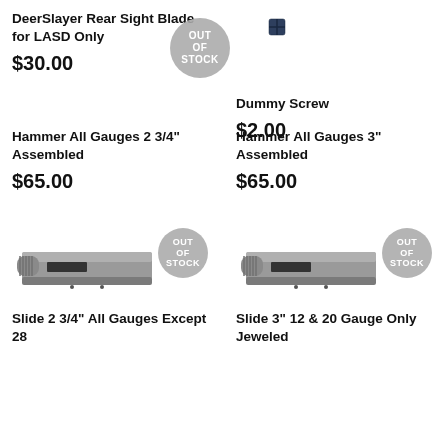DeerSlayer Rear Sight Blade for LASD Only
$30.00
[Figure (other): OUT OF STOCK badge overlay on product image area]
[Figure (photo): Small dark metal dummy screw product photo]
Dummy Screw
$2.00
Hammer All Gauges 2 3/4" Assembled
$65.00
Hammer All Gauges 3" Assembled
$65.00
[Figure (photo): Metal shotgun hammer/slide part, 2 3/4 inch, assembled, with OUT OF STOCK badge]
[Figure (photo): Metal shotgun slide part 3 inch 12 & 20 gauge jeweled, with OUT OF STOCK badge]
Slide 2 3/4" All Gauges Except 28
Slide 3" 12 & 20 Gauge Only Jeweled